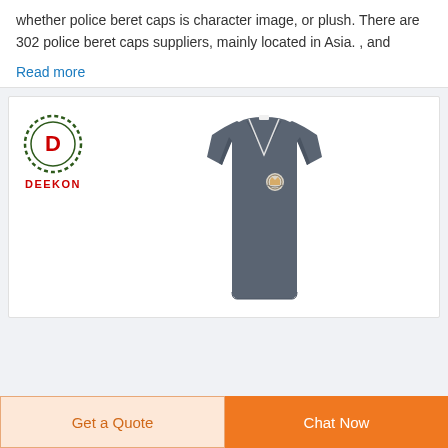whether police beret caps is character image, or plush. There are 302 police beret caps suppliers, mainly located in Asia. , and
Read more
[Figure (logo): Deekon brand logo: circular emblem with D in center surrounded by dotted ring, with red text DEEKON below]
[Figure (photo): Dark grey/charcoal sleeveless vest with V-neck, with a small emblem/badge on the chest]
Get a Quote
Chat Now